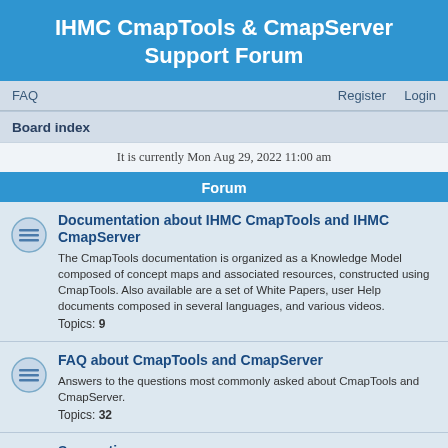IHMC CmapTools & CmapServer Support Forum
FAQ    Register    Login
Board index
It is currently Mon Aug 29, 2022 11:00 am
Forum
Documentation about IHMC CmapTools and IHMC CmapServer
The CmapTools documentation is organized as a Knowledge Model composed of concept maps and associated resources, constructed using CmapTools. Also available are a set of White Papers, user Help documents composed in several languages, and various videos.
Topics: 9
FAQ about CmapTools and CmapServer
Answers to the questions most commonly asked about CmapTools and CmapServer.
Topics: 32
Suggestions
Have new ideas for the next release of IHMC CmapTools and IHMC CmapServer?
We welcome your suggestions and we will carefully consider whether to incorporate them into the software.
Topics: 213